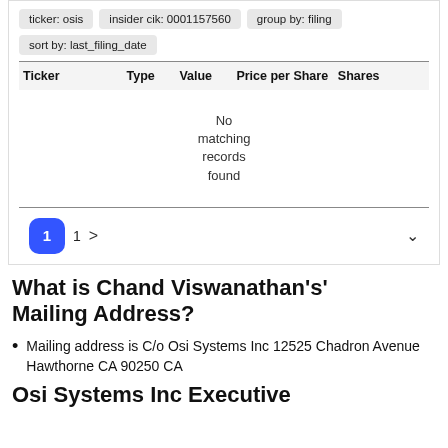ticker: osis  insider cik: 0001157560  group by: filing  sort by: last_filing_date
| Ticker | Type | Value | Price per Share | Shares |  |
| --- | --- | --- | --- | --- | --- |
| No matching records found |  |  |  |  |  |
What is Chand Viswanathan's' Mailing Address?
Mailing address is C/o Osi Systems Inc 12525 Chadron Avenue Hawthorne CA 90250 CA
Osi Systems Inc Executive